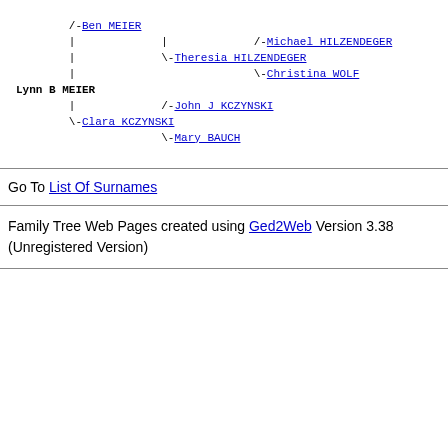[Figure (other): Ancestry/genealogy tree diagram showing relationships: /-Ben MEIER at top, with | lines connecting to Theresia HILZENDEGER (with /-Michael HILZENDEGER and \-Christina WOLF), then Lynn B MEIER as main subject, with \-Clara KCZYNSKI (with /-John J KCZYNSKI and \-Mary BAUCH)]
Go To List Of Surnames
Family Tree Web Pages created using Ged2Web Version 3.38 (Unregistered Version)